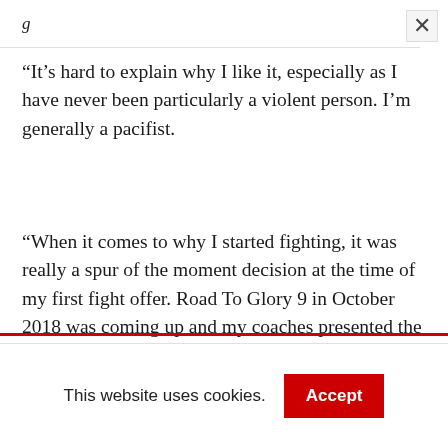g
“It’s hard to explain why I like it, especially as I have never been particularly a violent person. I’m generally a pacifist.
“When it comes to why I started fighting, it was really a spur of the moment decision at the time of my first fight offer. Road To Glory 9 in October 2018 was coming up and my coaches presented the opportunity to myself and a few of my team mates and I decided why not test my
This website uses cookies.
Accept